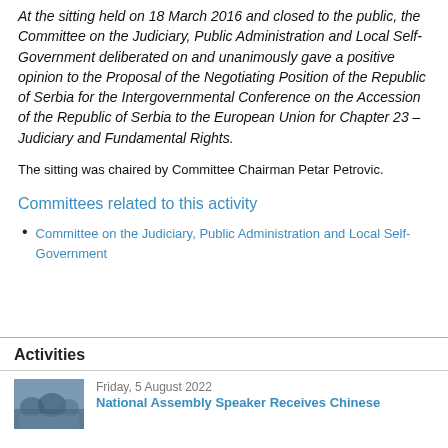At the sitting held on 18 March 2016 and closed to the public, the Committee on the Judiciary, Public Administration and Local Self-Government deliberated on and unanimously gave a positive opinion to the Proposal of the Negotiating Position of the Republic of Serbia for the Intergovernmental Conference on the Accession of the Republic of Serbia to the European Union for Chapter 23 – Judiciary and Fundamental Rights.
The sitting was chaired by Committee Chairman Petar Petrovic.
Committees related to this activity
Committee on the Judiciary, Public Administration and Local Self-Government
Activities
Friday, 5 August 2022
National Assembly Speaker Receives Chinese